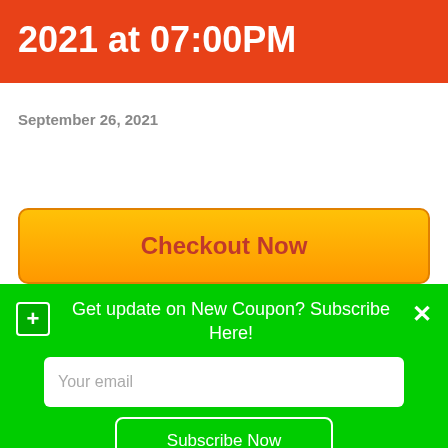2021 at 07:00PM
September 26, 2021
Checkout Now
Get update on New Coupon? Subscribe Here!
Your email
Subscribe Now